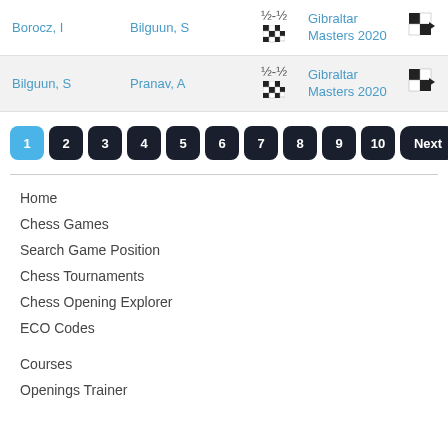| Player 1 | Player 2 | Result | Tournament |  |
| --- | --- | --- | --- | --- |
| Borocz, I | Bilguun, S | ½-½ | Gibraltar Masters 2020 | → |
| Bilguun, S | Pranav, A | ½-½ | Gibraltar Masters 2020 | → |
1 2 3 4 5 6 7 8 9 10 Next
Home
Chess Games
Search Game Position
Chess Tournaments
Chess Opening Explorer
ECO Codes
Courses
Openings Trainer